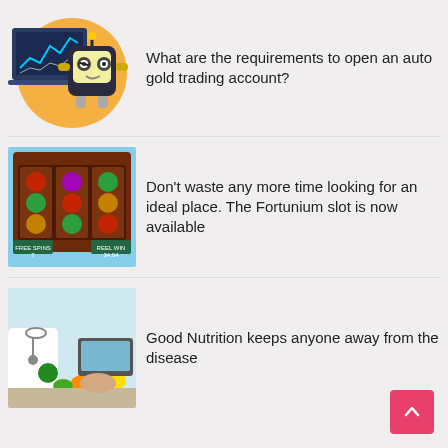[Figure (illustration): Trading robot illustration with a laptop showing charts and a yellow robot character]
What are the requirements to open an auto gold trading account?
[Figure (screenshot): Screenshot of a colorful slot machine game called Fortunium showing reels with various symbols and a free spins counter]
Don't waste any more time looking for an ideal place. The Fortunium slot is now available
[Figure (photo): Doctor with stethoscope next to a colorful assortment of fruits and vegetables and a laptop]
Good Nutrition keeps anyone away from the disease